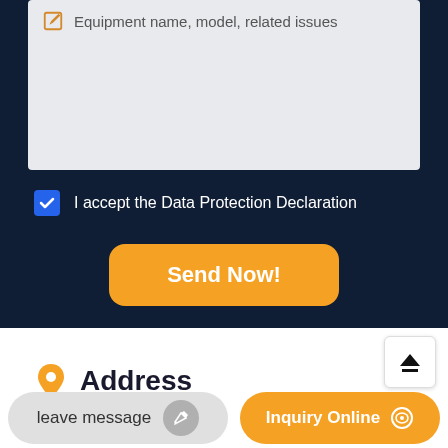[Figure (screenshot): Textarea input field with placeholder text 'Equipment name, model, related issues' and an edit icon]
I accept the Data Protection Declaration
Send Now!
[Figure (screenshot): Scroll-to-top button with upward arrow icon]
Address
High and New Ind...
leave message
Inquiry Online